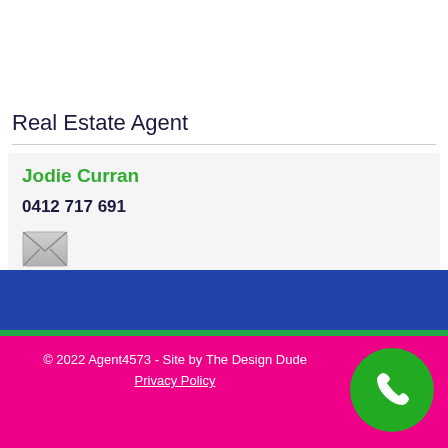Real Estate Agent
Jodie Curran
0412 717 691
[Figure (illustration): Email envelope icon — small grey envelope icon representing an email link]
© 2022 Agent4573 - Site by The Design Dude
Privacy Policy
[Figure (illustration): Green circle with white phone handset icon — floating call button]